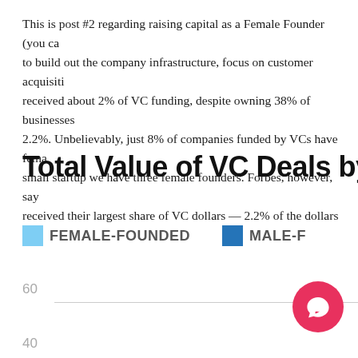This is post #2 regarding raising capital as a Female Founder (you ca... to build out the company infrastructure, focus on customer acquisiti... received about 2% of VC funding, despite owning 38% of businesses 2.2%. Unbelievably, just 8% of companies funded by VCs have fema... small startup we have three female founders. Forbes, however, say... received their largest share of VC dollars — 2.2% of the dollars and
Total Value of VC Deals by G...
[Figure (bar-chart): Partial bar chart showing total value of VC deals by gender (female-founded vs male-founded). Y-axis shows values with gridlines at 40 and 60 visible. Chart is cropped.]